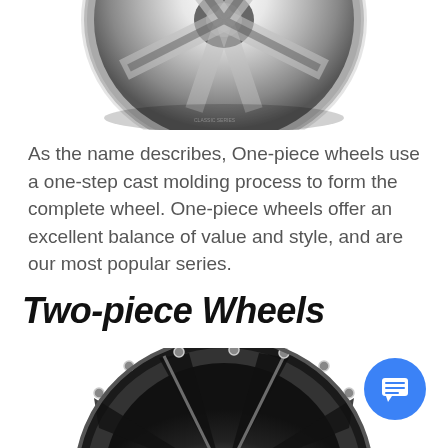[Figure (photo): Partial view of a chrome/polished one-piece wheel from above, showing spoke design and rim, cropped at top of page]
As the name describes, One-piece wheels use a one-step cast molding process to form the complete wheel. One-piece wheels offer an excellent balance of value and style, and are our most popular series.
Two-piece Wheels
[Figure (photo): Partial view of a black and chrome two-piece wheel, cropped at bottom of page, with bolt holes visible around rim]
[Figure (other): Blue circular chat button with white chat/message icon, positioned bottom right]